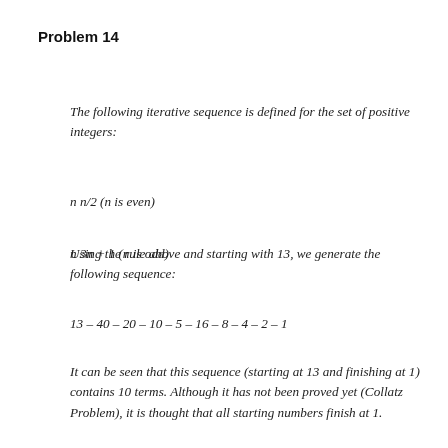Problem 14
The following iterative sequence is defined for the set of positive integers:
n n/2 (n is even)
n 3n + 1 (n is odd)
Using the rule above and starting with 13, we generate the following sequence:
13 – 40 – 20 – 10 – 5 – 16 – 8 – 4 – 2 – 1
It can be seen that this sequence (starting at 13 and finishing at 1) contains 10 terms. Although it has not been proved yet (Collatz Problem), it is thought that all starting numbers finish at 1.